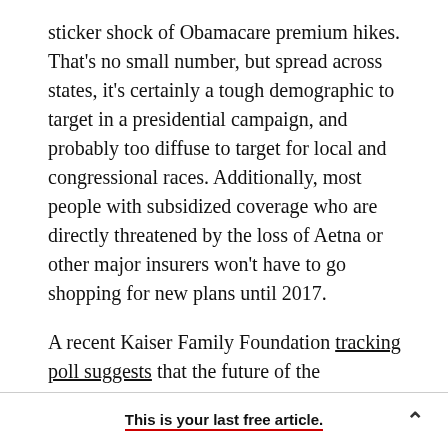sticker shock of Obamacare premium hikes. That's no small number, but spread across states, it's certainly a tough demographic to target in a presidential campaign, and probably too diffuse to target for local and congressional races. Additionally, most people with subsidized coverage who are directly threatened by the loss of Aetna or other major insurers won't have to go shopping for new plans until 2017.
A recent Kaiser Family Foundation tracking poll suggests that the future of the Affordable Care Act isn't even the top health care issue for registered
This is your last free article.